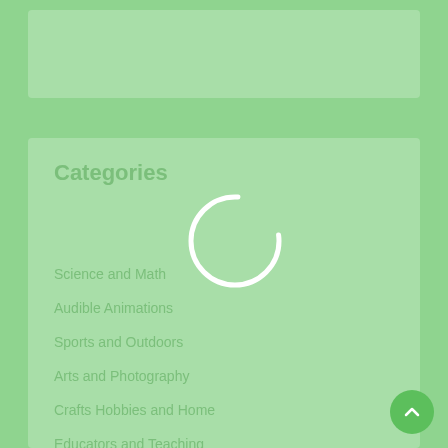[Figure (screenshot): Green background UI screenshot showing a loading spinner and a Categories section with a list of category links including Science and Math, Audible Animations, Sports and Outdoors, Arts and Photography, Crafts Hobbies and Home, Educators and Teaching]
Categories
Science and Math
Audible Animations
Sports and Outdoors
Arts and Photography
Crafts Hobbies and Home
Educators and Teaching